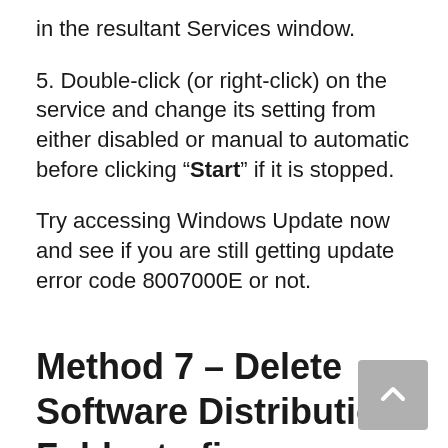in the resultant Services window.
5. Double-click (or right-click) on the service and change its setting from either disabled or manual to automatic before clicking “Start” if it is stopped.
Try accessing Windows Update now and see if you are still getting update error code 8007000E or not.
Method 7 – Delete Software Distribution Folder to fix 8007000E